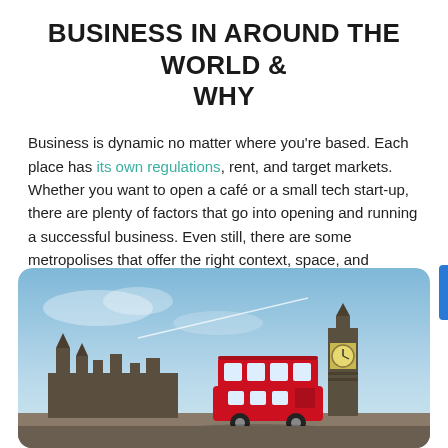BUSINESS IN AROUND THE WORLD & WHY
Business is dynamic no matter where you're based. Each place has its own regulations, rent, and target markets. Whether you want to open a café or a small tech start-up, there are plenty of factors that go into opening and running a successful business. Even still, there are some metropolises that offer the right context, space, and location for specific businesses.
[Figure (photo): Photo of London skyline featuring Big Ben clock tower and a red double-decker bus with a blue sky background, inside a rounded rectangle frame.]